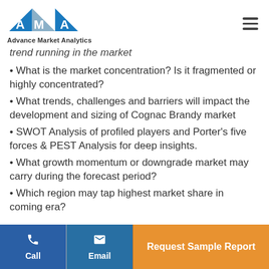Advance Market Analytics
trend running in the market
What is the market concentration? Is it fragmented or highly concentrated?
What trends, challenges and barriers will impact the development and sizing of Cognac Brandy market
SWOT Analysis of profiled players and Porter's five forces & PEST Analysis for deep insights.
What growth momentum or downgrade market may carry during the forecast period?
Which region may tap highest market share in coming era?
Call | Email | Request Sample Report